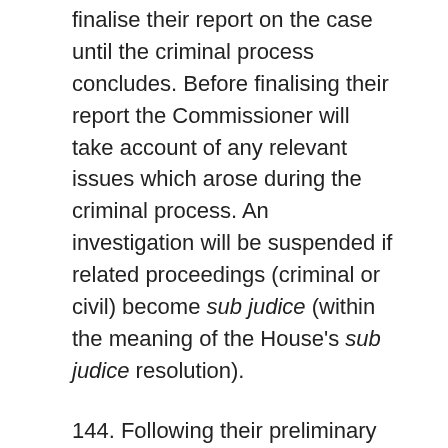finalise their report on the case until the criminal process concludes. Before finalising their report the Commissioner will take account of any relevant issues which arose during the criminal process. An investigation will be suspended if related proceedings (criminal or civil) become sub judice (within the meaning of the House's sub judice resolution).
144. Following their preliminary assessment, the Commissioner informs both the complainant and the member concerned whether or not they will investigate the complaint. Where the Commissioner dismisses a complaint of bullying, harassment or sexual misconduct at preliminary assessment, they have the discretion not to disclose this information to, and/or to withhold the identity from, the member. If they have decided that the complaint